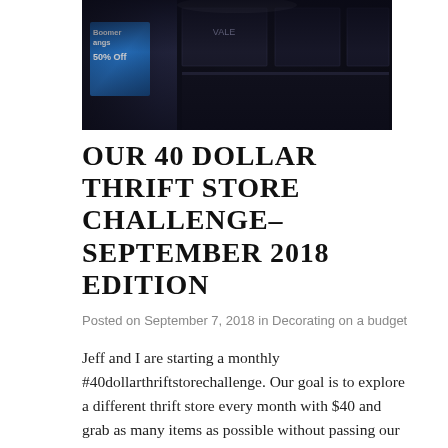[Figure (photo): Interior of a thrift store or bookshop with dark shelving units and a blue sale sign reading 'Boomerangs 50% Off']
OUR 40 DOLLAR THRIFT STORE CHALLENGE- SEPTEMBER 2018 EDITION
Posted on September 7, 2018 in Decorating on a budget
Jeff and I are starting a monthly #40dollarthriftstorechallenge. Our goal is to explore a different thrift store every month with $40 and grab as many items as possible without passing our budget! For our first challenge, we went to Boomerangs in Jamaica Plain (a Boston,